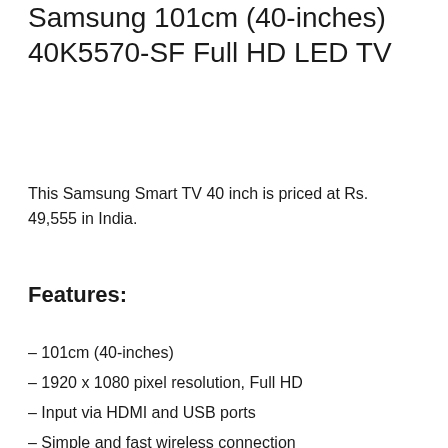Samsung 101cm (40-inches) 40K5570-SF Full HD LED TV
This Samsung Smart TV 40 inch is priced at Rs. 49,555 in India.
Features:
– 101cm (40-inches)
– 1920 x 1080 pixel resolution, Full HD
– Input via HDMI and USB ports
– Simple and fast wireless connection